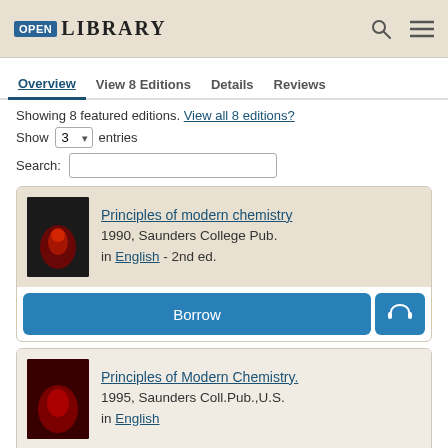OPEN LIBRARY
Overview  View 8 Editions  Details  Reviews
Showing 8 featured editions. View all 8 editions?
Show 3 entries
Search:
Principles of modern chemistry
1990, Saunders College Pub.
in English - 2nd ed.
Borrow
Principles of Modern Chemistry.
1995, Saunders Coll.Pub.,U.S.
in English
Borrow